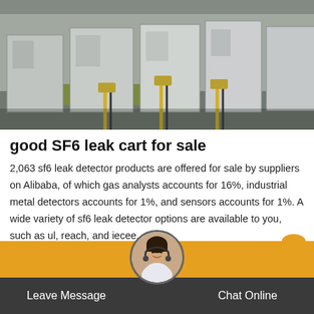[Figure (photo): Industrial electrical equipment or SF6 gas leak cart units arranged outdoors, grey metal enclosures with yellow-striped pipes and valves]
good SF6 leak cart for sale
2,063 sf6 leak detector products are offered for sale by suppliers on Alibaba, of which gas analysts accounts for 16%, industrial metal detectors accounts for 1%, and sensors accounts for 1%. A wide variety of sf6 leak detector options are available to you, such as ul, reach, and iecee.